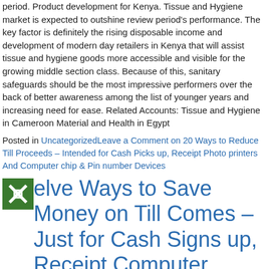period. Product development for Kenya. Tissue and Hygiene market is expected to outshine review period's performance. The key factor is definitely the rising disposable income and development of modern day retailers in Kenya that will assist tissue and hygiene goods more accessible and visible for the growing middle section class. Because of this, sanitary safeguards should be the most impressive performers over the back of better awareness among the list of younger years and increasing need for ease. Related Accounts: Tissue and Hygiene in Cameroon Material and Health in Egypt
Posted in UncategorizedLeave a Comment on 20 Ways to Reduce Till Proceeds – Intended for Cash Picks up, Receipt Photo printers And Computer chip & Pin number Devices
Twelve Ways to Save Money on Till Comes – Just for Cash Signs up, Receipt Computer printers And Processor chip & Green Devices
Posted on July 30, 2018March 7, 2019 by pcicomputer